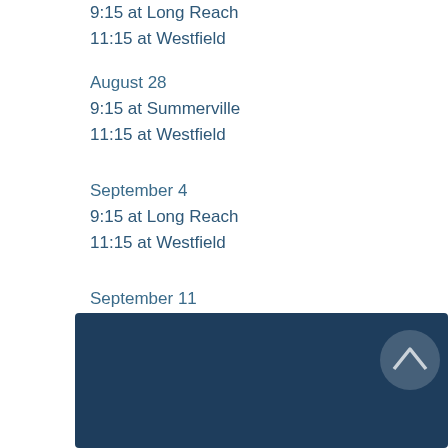9:15 at Long Reach
11:15 at Westfield
August 28
9:15 at Summerville
11:15 at Westfield
September 4
9:15 at Long Reach
11:15 at Westfield
September 11
11:00 - Church Picnic at Admiral Lane
[Figure (other): Dark navy blue footer bar with a circular up-arrow button in the upper right]